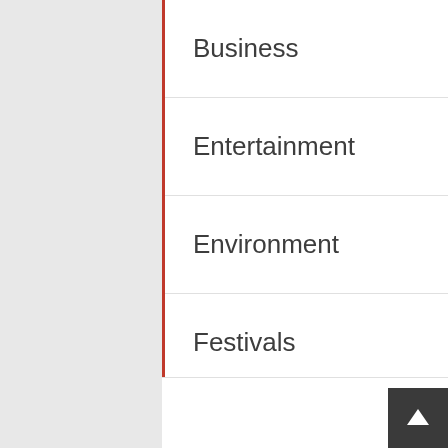Business 4
Entertainment 1
Environment 9
Festivals 5
Food 7
History 7
Lifestyle 14
Music 5
News 11
Technology 5
Featured Posts